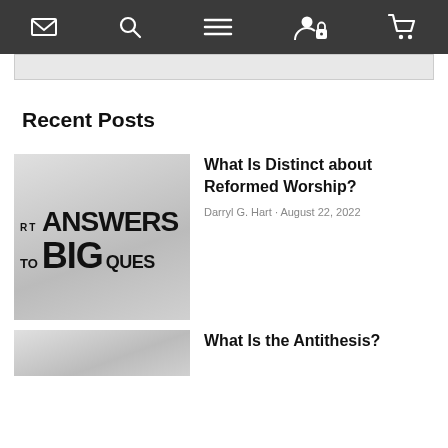[navigation bar with envelope, search, menu, user/lock, and cart icons]
[Figure (screenshot): Light grey search bar area below navigation]
Recent Posts
[Figure (photo): Greyscale blurred image showing text: RT ANSWERS TO BIG QUES (partial view of a book cover)]
What Is Distinct about Reformed Worship?
Darryl G. Hart • August 22, 2022
[Figure (photo): Greyscale blurred thumbnail image (partial, bottom of page)]
What Is the Antithesis?